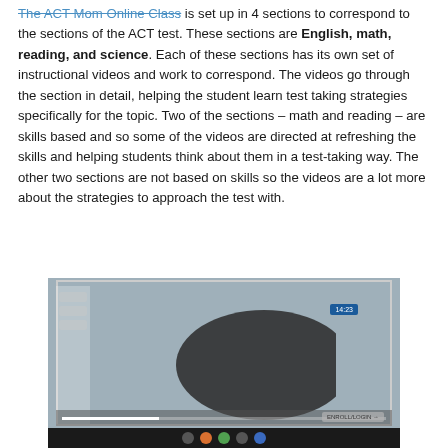The ACT Mom Online Class is set up in 4 sections to correspond to the sections of the ACT test. These sections are English, math, reading, and science. Each of these sections has its own set of instructional videos and work to correspond. The videos go through the section in detail, helping the student learn test taking strategies specifically for the topic. Two of the sections – math and reading – are skills based and so some of the videos are directed at refreshing the skills and helping students think about them in a test-taking way. The other two sections are not based on skills so the videos are a lot more about the strategies to approach the test with.
[Figure (screenshot): Screenshot of a video player showing a person (instructor) in front of a camera, with a sidebar navigation on the left, a blue badge/timer in upper right, a progress bar at the bottom, and a dark taskbar.]